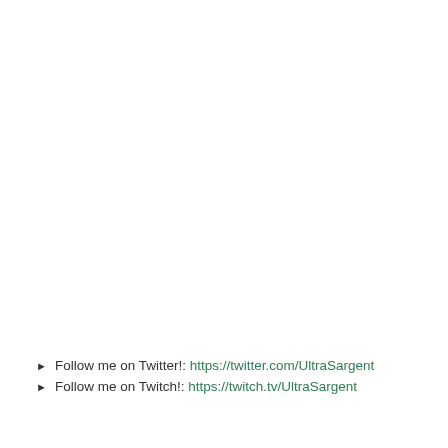► Follow me on Twitter!: https://twitter.com/UltraSargent
► Follow me on Twitch!: https://twitch.tv/UltraSargent